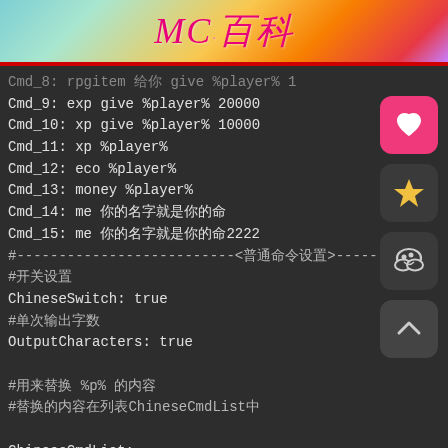MC·百科
Cmd_8: rpgitem 给你 give %player% 1
Cmd_9: exp give %player% 20000
Cmd_10: xp give %player% 10000
Cmd_11: xp %player%
Cmd_12: eco %player%
Cmd_13: money %player%
Cmd_14: me 你的名字就是你的命
Cmd_15: me 你的名字就是你的命2222
#--------------------------<普通命令设置>----------
#开关设置
ChineseSwitch: true
#单次输出字数
OutputCharacters: true

#用来替换 %p% 的内容
#替换的内容在列表ChineseCmdList中

ChineseCmdList:
    a:
      Chinese: '飞行'
      Cmd: 'fly'
    b: